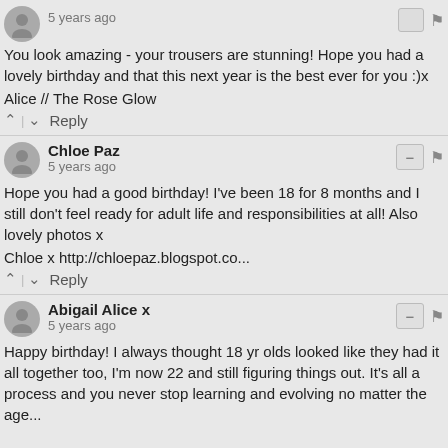5 years ago
You look amazing - your trousers are stunning! Hope you had a lovely birthday and that this next year is the best ever for you :)x
Alice // The Rose Glow
^ | v Reply
Chloe Paz
5 years ago
Hope you had a good birthday! I've been 18 for 8 months and I still don't feel ready for adult life and responsibilities at all! Also lovely photos x
Chloe x http://chloepaz.blogspot.co...
^ | v Reply
Abigail Alice x
5 years ago
Happy birthday! I always thought 18 yr olds looked like they had it all together too, I'm now 22 and still figuring things out. It's all a process and you never stop learning and evolving no matter the age...